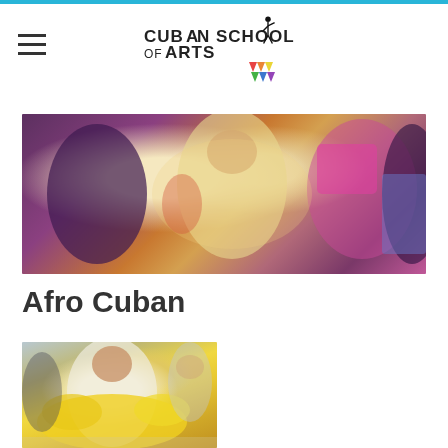Cuban School of Arts
[Figure (photo): Group of people dancing together at a Cuban dance event, smiling and energetic, with colorful lighting]
Afro Cuban
[Figure (photo): Woman in white top holding up a bright yellow fabric skirt while dancing, with other dancers visible in the background]